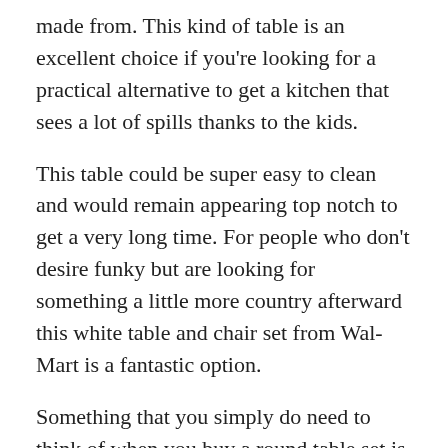made from. This kind of table is an excellent choice if you're looking for a practical alternative to get a kitchen that sees a lot of spills thanks to the kids.
This table could be super easy to clean and would remain appearing top notch to get a very long time. For people who don't desire funky but are looking for something a little more country afterward this white table and chair set from Wal-Mart is a fantastic option.
Something that you simply do need to think of when you buy a round table set is whether you need a base set or a table that has four legs. On the whole, the base sets can be practical as it means that there are no annoying legs that get in your way when you're sat round the table – but naturally, it is down to individual preference. Take your own time trying them out in the shop to determine which will be the most effective choice for you personally and